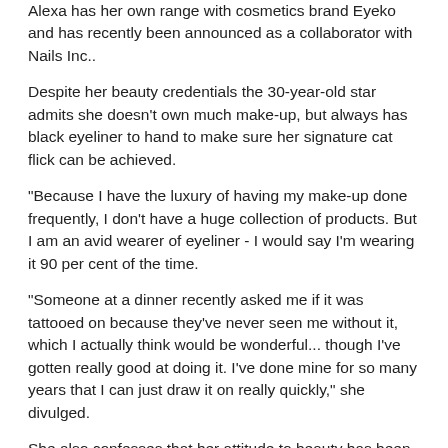Alexa has her own range with cosmetics brand Eyeko and has recently been announced as a collaborator with Nails Inc..
Despite her beauty credentials the 30-year-old star admits she doesn't own much make-up, but always has black eyeliner to hand to make sure her signature cat flick can be achieved.
"Because I have the luxury of having my make-up done frequently, I don't have a huge collection of products. But I am an avid wearer of eyeliner - I would say I'm wearing it 90 per cent of the time.
"Someone at a dinner recently asked me if it was tattooed on because they've never seen me without it, which I actually think would be wonderful... though I've gotten really good at doing it. I've done mine for so many years that I can just draw it on really quickly," she divulged.
She also confesses that her attitude to beauty has been shaped by her British upbringing, where Alexa claims people don't think it's "cool" to look